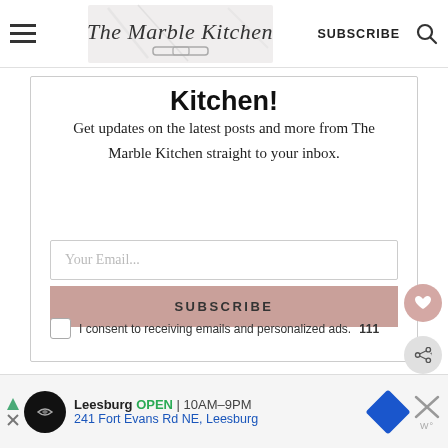The Marble Kitchen — SUBSCRIBE navigation bar
Kitchen!
Get updates on the latest posts and more from The Marble Kitchen straight to your inbox.
Your Email...
SUBSCRIBE
I consent to receiving emails and personalized ads. 111
[Figure (screenshot): Ad banner for Leesburg: OPEN 10AM-9PM, 241 Fort Evans Rd NE, Leesburg with map icon and close button]